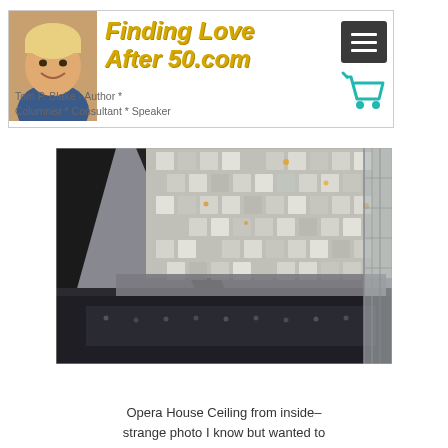Finding Love After 50.com - Tom P. Blake - Author * Columnist * Consultant * Speaker
[Figure (photo): Interior architectural photo of an Opera House ceiling showing geometric honeycomb/diamond patterned glass and steel structure with small lights embedded, viewed from inside looking up at an angle]
Opera House Ceiling from inside–strange photo I know but wanted to